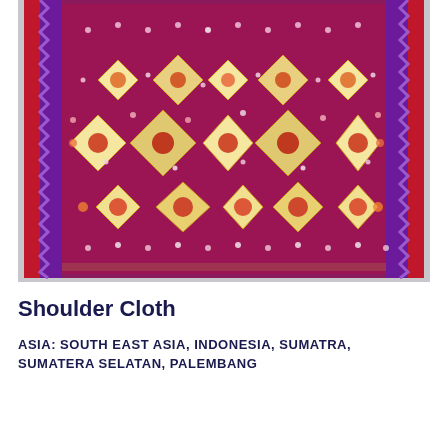[Figure (photo): A richly patterned textile shoulder cloth from Palembang, Sumatera Selatan, Indonesia. The cloth features an intricate geometric design with diamond shapes, dots, and floral motifs in vivid colors including deep red/magenta, purple, orange, yellow, and white on a dark background. The textile has decorative borders with zigzag patterns.]
Shoulder Cloth
ASIA: SOUTH EAST ASIA, INDONESIA, SUMATRA, SUMATERA SELATAN, PALEMBANG